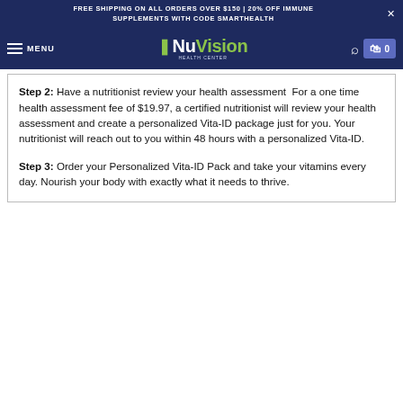FREE SHIPPING ON ALL ORDERS OVER $150 | 20% OFF IMMUNE SUPPLEMENTS WITH CODE SMARTHEALTH
NuVision HEALTH CENTER — MENU | Search | Cart 0
Step 2: Have a nutritionist review your health assessment  For a one time health assessment fee of $19.97, a certified nutritionist will review your health assessment and create a personalized Vita-ID package just for you. Your nutritionist will reach out to you within 48 hours with a personalized Vita-ID.
Step 3: Order your Personalized Vita-ID Pack and take your vitamins every day. Nourish your body with exactly what it needs to thrive.